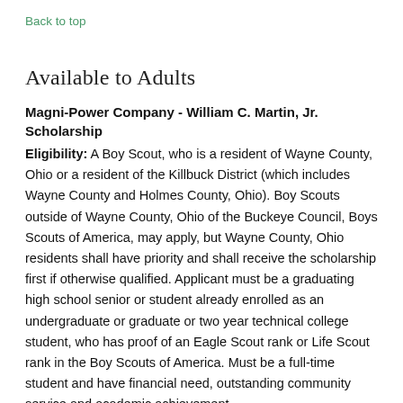Back to top
Available to Adults
Magni-Power Company - William C. Martin, Jr. Scholarship
Eligibility: A Boy Scout, who is a resident of Wayne County, Ohio or a resident of the Killbuck District (which includes Wayne County and Holmes County, Ohio). Boy Scouts outside of Wayne County, Ohio of the Buckeye Council, Boys Scouts of America, may apply, but Wayne County, Ohio residents shall have priority and shall receive the scholarship first if otherwise qualified. Applicant must be a graduating high school senior or student already enrolled as an undergraduate or graduate or two year technical college student, who has proof of an Eagle Scout rank or Life Scout rank in the Boy Scouts of America. Must be a full-time student and have financial need, outstanding community service and academic achievement.